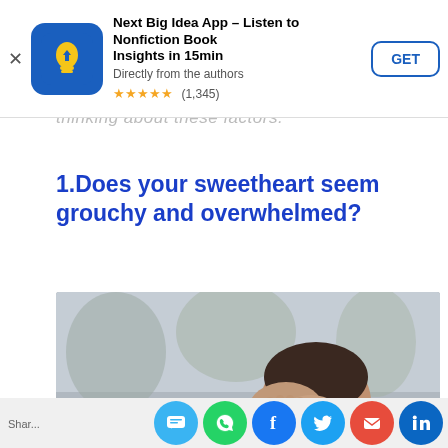[Figure (other): App store advertisement banner for 'Next Big Idea App – Listen to Nonfiction Book Insights in 15min'. Shows app icon (blue lightbulb with yellow arrow), title, subtitle 'Directly from the authors', 5-star rating (1,345), and GET button. Has X close button on left.]
thinking about those factors.
1.Does your sweetheart seem grouchy and overwhelmed?
[Figure (photo): Photo of a person lying in bed, face buried in hands, appearing stressed or distressed. Blurred background suggests bedroom or resting area. Person is wearing a dark blue top and resting on white pillows.]
[Figure (other): Social sharing bar at bottom with circular icons for SMS (light blue), WhatsApp (green), Facebook (blue), Twitter (light blue), Email (red), LinkedIn (dark blue).]